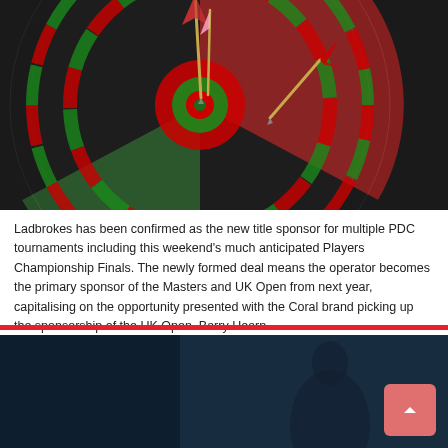[Figure (photo): Close-up photo of a dartboard with darts stuck in it, dark background]
Ladbrokes has been confirmed as the new title sponsor for multiple PDC tournaments including this weekend's much anticipated Players Championship Finals. The newly formed deal means the operator becomes the primary sponsor of the Masters and UK Open from next year, capitalising on the opportunity presented with the Coral brand picking up the sponsorship of the UK Open. Barry Hearn …
Read More »
[Figure (infographic): Social media share buttons: Facebook (f), Twitter (bird icon), LinkedIn (in)]
[Figure (photo): Partial photo at bottom of page, dark blue toned image, person silhouette]